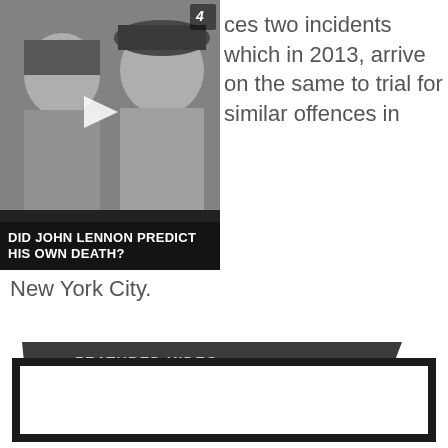[Figure (screenshot): Black and white video thumbnail showing two people, with a play button overlay and channel logo in corner. Title bar reads 'DID JOHN LENNON PREDICT HIS OWN DEATH?']
ces two incidents which in 2013, arrive on the same to trial for similar offences in New York City.
FEATURED VIDEO
[Figure (screenshot): Empty featured video player box with dark border, white interior]